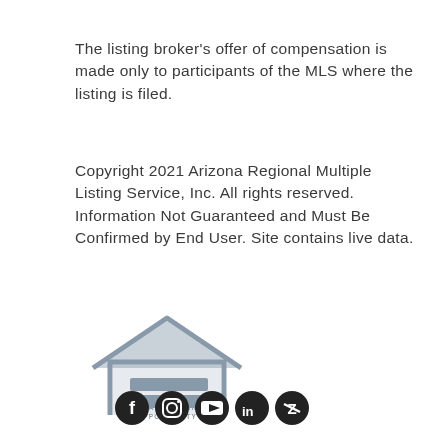The listing broker's offer of compensation is made only to participants of the MLS where the listing is filed.
Copyright 2021 Arizona Regional Multiple Listing Service, Inc. All rights reserved. Information Not Guaranteed and Must Be Confirmed by End User. Site contains live data.
[Figure (logo): Equal Housing Opportunity logo — house outline with an equals sign inside, with text 'EQUAL HOUSING OPPORTUNITY' below]
[Figure (other): Social media icons: Facebook, Instagram, YouTube, LinkedIn, and Zillow]